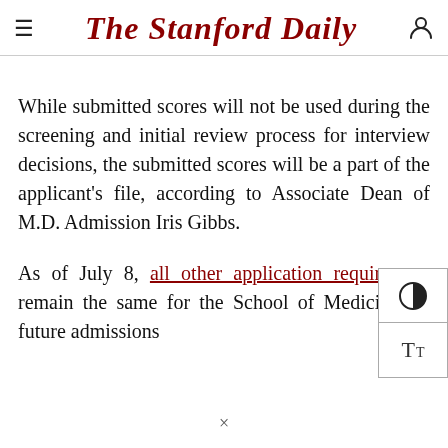The Stanford Daily
While submitted scores will not be used during the screening and initial review process for interview decisions, the submitted scores will be a part of the applicant's file, according to Associate Dean of M.D. Admission Iris Gibbs.

As of July 8, all other application requirements remain the same for the School of Medicine. In future admissions, Gibbs maintains...